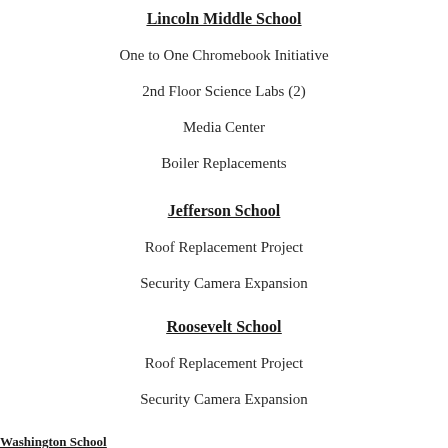Lincoln Middle School
One to One Chromebook Initiative
2nd Floor Science Labs (2)
Media Center
Boiler Replacements
Jefferson School
Roof Replacement Project
Security Camera Expansion
Roosevelt School
Roof Replacement Project
Security Camera Expansion
Washington School
Security Camera Expansion